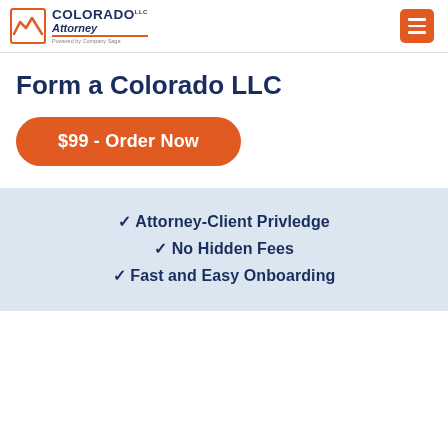Colorado LLC Attorney - Powered by Company Sage
Form a Colorado LLC
$99 - Order Now
✓ Attorney-Client Privledge
✓ No Hidden Fees
✓ Fast and Easy Onboarding